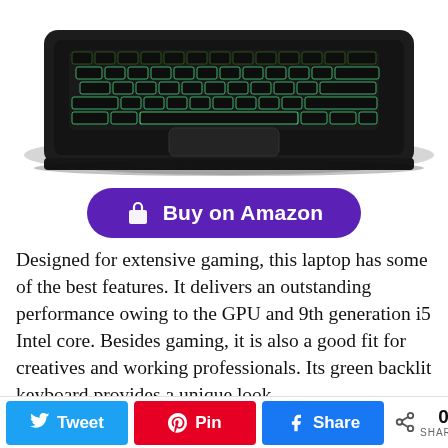[Figure (photo): Top-down view of a gaming laptop with green backlit keyboard, open partially showing keyboard and trackpad on black body]
Buy on Amazon
Designed for extensive gaming, this laptop has some of the best features. It delivers an outstanding performance owing to the GPU and 9th generation i5 Intel core. Besides gaming, it is also a good fit for creatives and working professionals. Its green backlit keyboard provides a unique look.
Its other features include a full HD display with anti-
0 SHARES